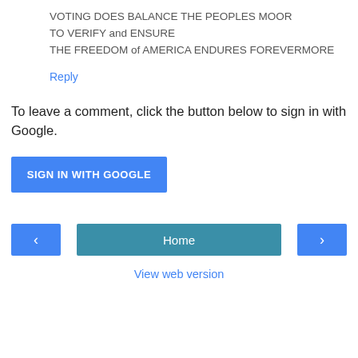VOTING DOES BALANCE THE PEOPLES MOOR
TO VERIFY and ENSURE
THE FREEDOM of AMERICA ENDURES FOREVERMORE
Reply
To leave a comment, click the button below to sign in with Google.
SIGN IN WITH GOOGLE
‹
Home
›
View web version